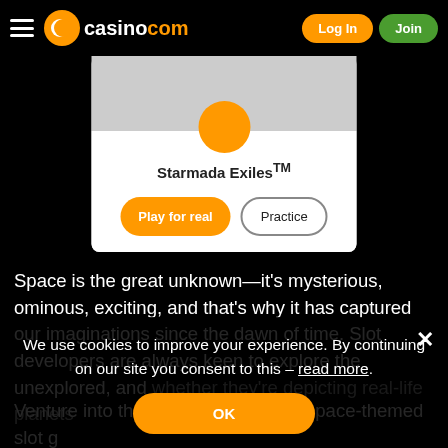casino.com — Log In | Join
[Figure (screenshot): Game card for Starmada Exiles with Play for real and Practice buttons]
Starmada Exiles™
Space is the great unknown—it's mysterious, ominous, exciting, and that's why it has captured our imaginations since the dawn of time. Slot developers are always keen to explore the unexplored, and whether they're depicting real-life planets or creating fictional worlds, they always have something interesting to say.
We use cookies to improve your experience. By continuing on our site you consent to this – read more.
Venture into the cosmos with these space-themed slot games, which are